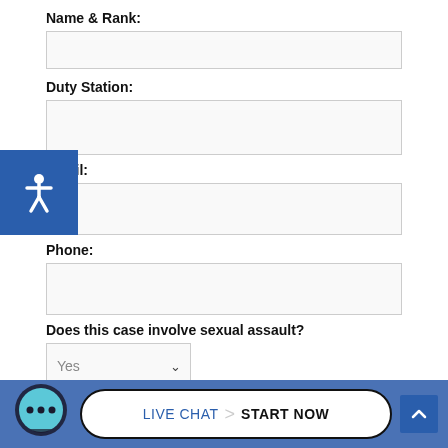Name & Rank:
Duty Station:
Email:
Phone:
Does this case involve sexual assault?
Briefly Describe Your Situation: